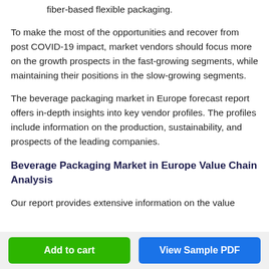fiber-based flexible packaging.
To make the most of the opportunities and recover from post COVID-19 impact, market vendors should focus more on the growth prospects in the fast-growing segments, while maintaining their positions in the slow-growing segments.
The beverage packaging market in Europe forecast report offers in-depth insights into key vendor profiles. The profiles include information on the production, sustainability, and prospects of the leading companies.
Beverage Packaging Market in Europe Value Chain Analysis
Our report provides extensive information on the value
Add to cart | View Sample PDF